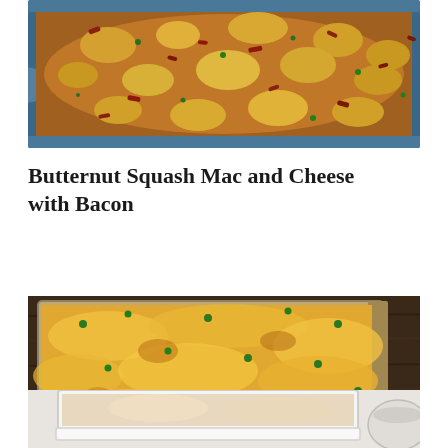[Figure (photo): Overhead view of butternut squash mac and cheese with bacon in a dark blue skillet pan, showing golden pasta with bacon pieces and green herb garnishes]
Butternut Squash Mac and Cheese with Bacon
[Figure (photo): Overhead view of a cheesy casserole dish with melted orange cheese and chopped green herbs on top, in a dark baking pan on a wooden surface]
[Figure (photo): Partial view of a white baking dish with casserole, partially cut off at bottom of page]